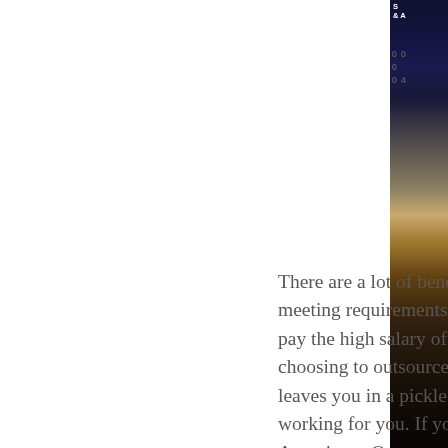[Figure (photo): A partial view of a building/office exterior at night or dusk, with a logo visible at the top and illuminated numbers or signage. The image is cropped to a narrow vertical strip on the right side of the page.]
There are a lot of benefits associated with o... meeting requirements while also promoting ... pay the high salary of an on site CFO. You eli... choosing to outsource your accounting and ... leaves you in a pickle. By opting to outsource working for you. If you are looking for outso... Associates. Our team has the experience req... accounting services.